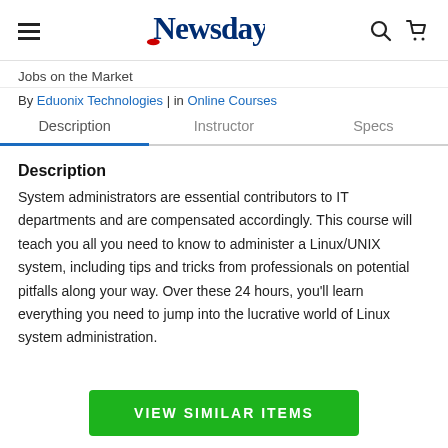Newsday
Jobs on the Market
By Eduonix Technologies | in Online Courses
Description | Instructor | Specs
Description
System administrators are essential contributors to IT departments and are compensated accordingly. This course will teach you all you need to know to administer a Linux/UNIX system, including tips and tricks from professionals on potential pitfalls along your way. Over these 24 hours, you'll learn everything you need to jump into the lucrative world of Linux system administration.
VIEW SIMILAR ITEMS